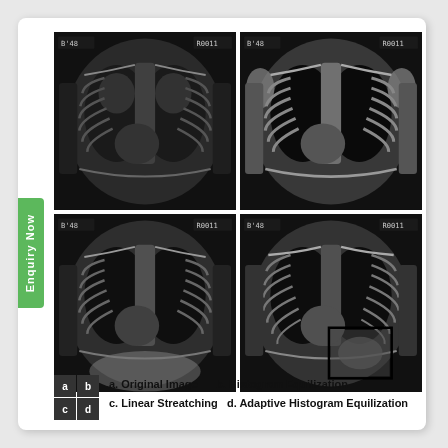[Figure (photo): Four chest X-ray images in a 2x2 grid: (a) Original Image - standard chest X-ray, (b) Histogram Equilization - enhanced contrast, (c) Linear Streatching - linear contrast stretched, (d) Adaptive Histogram Equilization - locally enhanced with a highlighted region box]
a. Original Image   b. Histogram Equilization
c. Linear Streatching   d. Adaptive Histogram Equilization